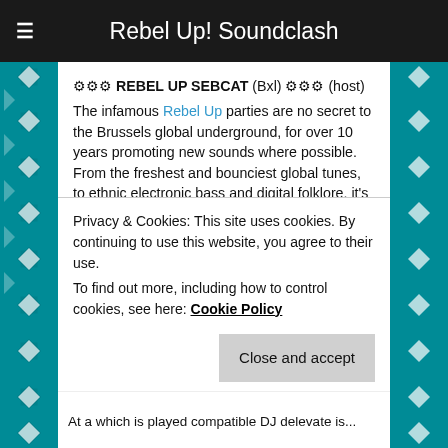Rebel Up! Soundclash
⚙⚙⚙ REBEL UP SEBCAT (Bxl) ⚙⚙⚙ (host)
The infamous Rebel Up parties are no secret to the Brussels global underground, for over 10 years promoting new sounds where possible. From the freshest and bounciest global tunes, to ethnic electronic bass and digital folklore, it's all there to hear and feel in their tapes, remixes and the monthly radio show Rebel Up Nightshop on Radio Campus Bruxelles & Groovalizacion Radio. This year will also mark the birth of Rebel Up! Records, a vinyl & digital label for special global sounds. Expect urban folk & electronic tunes from the global south and diaspora.
Privacy & Cookies: This site uses cookies. By continuing to use this website, you agree to their use.
To find out more, including how to control cookies, see here: Cookie Policy